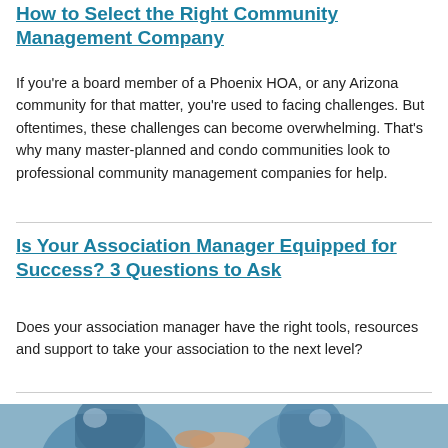How to Select the Right Community Management Company
If you’re a board member of a Phoenix HOA, or any Arizona community for that matter, you’re used to facing challenges. But oftentimes, these challenges can become overwhelming. That’s why many master-planned and condo communities look to professional community management companies for help.
Is Your Association Manager Equipped for Success? 3 Questions to Ask
Does your association manager have the right tools, resources and support to take your association to the next level?
[Figure (photo): Photo of two people in blue attire appearing to shake hands or meet, partially visible at bottom of page]